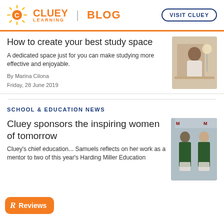CLUEY LEARNING | BLOG — VISIT CLUEY
How to create your best study space
A dedicated space just for you can make studying more effective and enjoyable.
By Marina Cilona
Friday, 28 June 2019
[Figure (photo): Photo of a student studying at a desk, viewed from behind, with warm lamp light]
SCHOOL & EDUCATION NEWS
Cluey sponsors the inspiring women of tomorrow
Cluey's chief education... Samuels reflects on her work as a mentor to two of this year's Harding Miller Education
[Figure (photo): Photo of two young women in green blazers holding certificates in front of a banner]